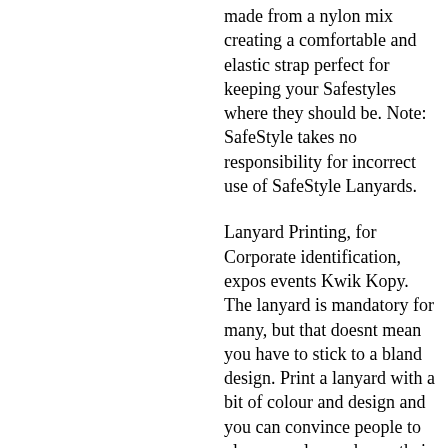made from a nylon mix creating a comfortable and elastic strap perfect for keeping your Safestyles where they should be. Note: SafeStyle takes no responsibility for incorrect use of SafeStyle Lanyards.
Lanyard Printing, for Corporate identification, expos events Kwik Kopy.
The lanyard is mandatory for many, but that doesnt mean you have to stick to a bland design. Print a lanyard with a bit of colour and design and you can convince people to place your lanyard over their neck in no time.
LANYARD meaning in the Cambridge English Dictionary. Staff were issued with an ID card holder and a lanyard to carry it on. Definition of lanyard from the